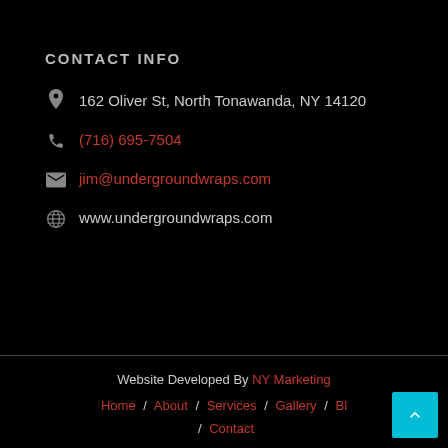CONTACT INFO
📍 162 Oliver St, North Tonawanda, NY 14120
📞 (716) 695-7504
✉ jim@undergroundwraps.com
🌐 www.undergroundwraps.com
Website Developed By NY Marketing  Home / About / Services / Gallery / Bl... / Contact